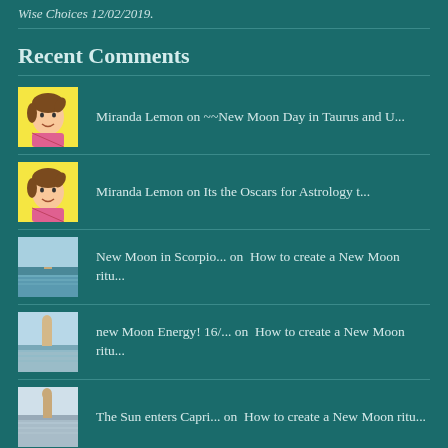Wise Choices 12/02/2019.
Recent Comments
Miranda Lemon on ~~New Moon Day in Taurus and U...
Miranda Lemon on Its the Oscars for Astrology t...
New Moon in Scorpio... on  How to create a New Moon ritu...
new Moon Energy! 16/... on  How to create a New Moon ritu...
The Sun enters Capri... on  How to create a New Moon ritu...